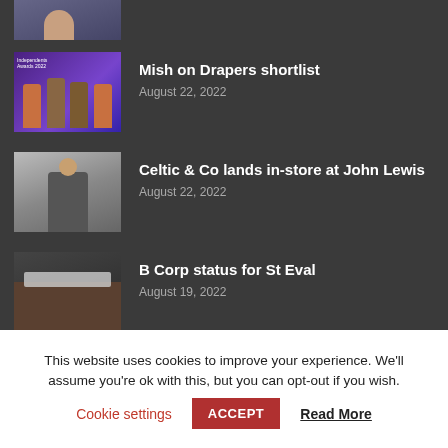[Figure (photo): Partial view of a dark-themed news listing item at the top, showing a cropped thumbnail image]
Mish on Drapers shortlist
August 22, 2022
[Figure (photo): Photo of people on stage at Independents Awards 2022 event with purple backdrop]
Celtic & Co lands in-store at John Lewis
August 22, 2022
[Figure (photo): Black and white photo of a person wearing knitwear outdoors]
B Corp status for St Eval
August 19, 2022
[Figure (photo): Dark photo of hands working on a craft/manufacturing process]
This website uses cookies to improve your experience. We'll assume you're ok with this, but you can opt-out if you wish.
Cookie settings  ACCEPT  Read More